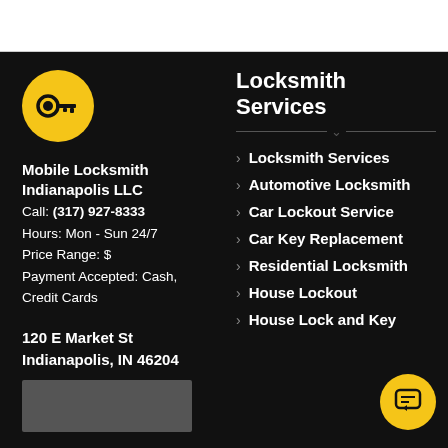[Figure (logo): Yellow circle with a white key icon (Mobile Locksmith Indianapolis LLC logo)]
Mobile Locksmith Indianapolis LLC
Call: (317) 927-8333
Hours: Mon - Sun 24/7
Price Range: $
Payment Accepted: Cash, Credit Cards
120 E Market St
Indianapolis, IN 46204
Locksmith Services
Locksmith Services
Automotive Locksmith
Car Lockout Service
Car Key Replacement
Residential Locksmith
House Lockout
House Lock and Key